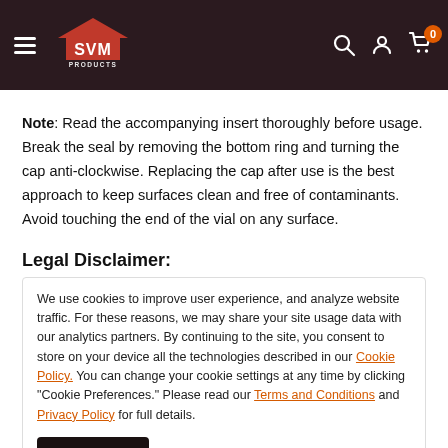SVM Products navigation header with logo, search, account, and cart icons
Note: Read the accompanying insert thoroughly before usage. Break the seal by removing the bottom ring and turning the cap anti-clockwise. Replacing the cap after use is the best approach to keep surfaces clean and free of contaminants. Avoid touching the end of the vial on any surface.
Legal Disclaimer:
We use cookies to improve user experience, and analyze website traffic. For these reasons, we may share your site usage data with our analytics partners. By continuing to the site, you consent to store on your device all the technologies described in our Cookie Policy. You can change your cookie settings at any time by clicking "Cookie Preferences." Please read our Terms and Conditions and Privacy Policy for full details.
Accept
by the FDA and are not intended to diagnose, treat, cure, or prevent